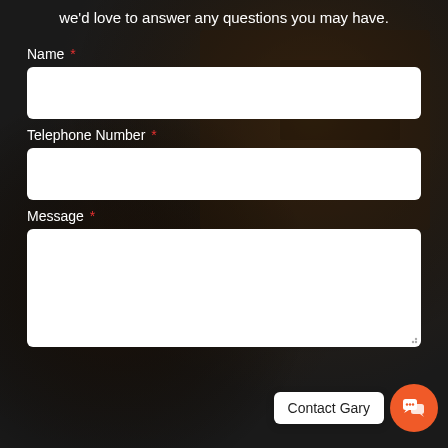we'd love to answer any questions you may have.
Name *
Telephone Number *
Message *
[Figure (other): Contact Gary chat widget with orange circular button containing speech bubbles icon and white label 'Contact Gary']